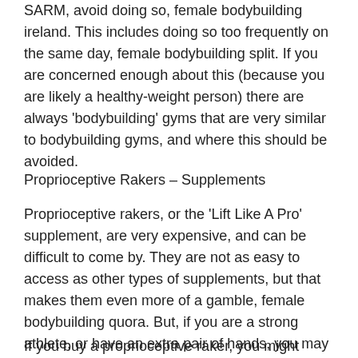SARM, avoid doing so, female bodybuilding ireland. This includes doing so too frequently on the same day, female bodybuilding split. If you are concerned enough about this (because you are likely a healthy-weight person) there are always 'bodybuilding' gyms that are very similar to bodybuilding gyms, and where this should be avoided.
Proprioceptive Rakers – Supplements
Proprioceptive rakers, or the 'Lift Like A Pro' supplement, are very expensive, and can be difficult to come by. They are not as easy to access as other types of supplements, but that makes them even more of a gamble, female bodybuilding quora. But, if you are a strong athlete, or have an extra pair of hands, you may want to try them out.
If you buy a proprioceptive raker, you might